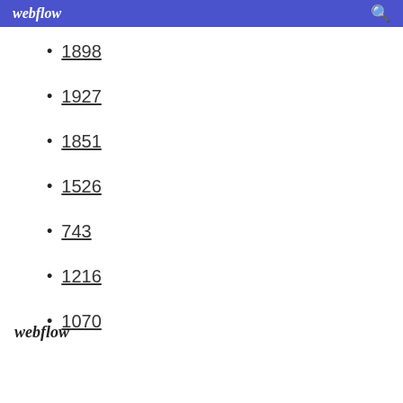webflow
1898
1927
1851
1526
743
1216
1070
webflow